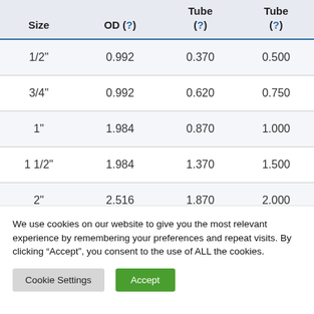| Size | OD (?) | Tube (?) | Tube (?) |
| --- | --- | --- | --- |
| 1/2" | 0.992 | 0.370 | 0.500 |
| 3/4" | 0.992 | 0.620 | 0.750 |
| 1" | 1.984 | 0.870 | 1.000 |
| 1 1/2" | 1.984 | 1.370 | 1.500 |
| 2" | 2.516 | 1.870 | 2.000 |
We use cookies on our website to give you the most relevant experience by remembering your preferences and repeat visits. By clicking "Accept", you consent to the use of ALL the cookies.